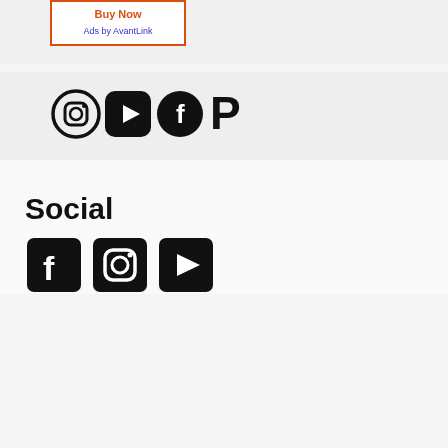[Figure (other): Ad box with orange border containing 'Buy Now' link in orange and 'Ads by AvantLink' text in blue]
[Figure (other): Social media icons row: Instagram, YouTube, Facebook, Pinterest]
Social
[Figure (other): Social media icons row: Facebook, Instagram, YouTube]